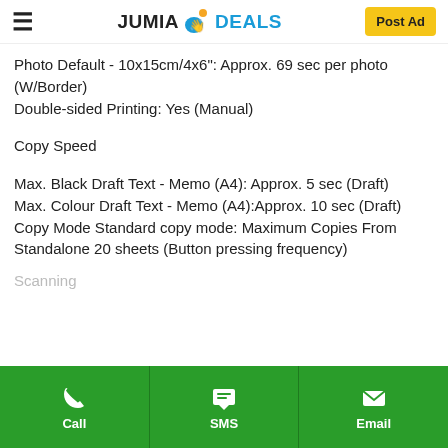JUMIA DEALS | Post Ad
Photo Default - 10x15cm/4x6": Approx. 69 sec per photo (W/Border)
Double-sided Printing: Yes (Manual)
Copy Speed
Max. Black Draft Text - Memo (A4): Approx. 5 sec (Draft)
Max. Colour Draft Text - Memo (A4):Approx. 10 sec (Draft)
Copy Mode Standard copy mode: Maximum Copies From Standalone 20 sheets (Button pressing frequency)
Call | SMS | Email